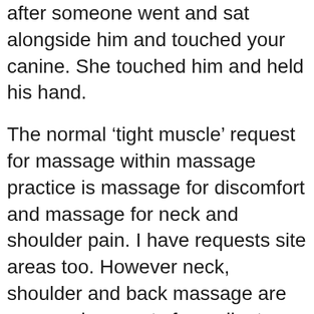after someone went and sat alongside him and touched your canine. She touched him and held his hand.
The normal ‘tight muscle’ request for massage within massage practice is massage for discomfort and massage for neck and shoulder pain. I have requests site areas too. However neck, shoulder and back massage are my usual requests from clients. Experts are skilled at helping muscles relax and release using many different aspects of massage solution.
Extra Padding Unless you’re driving a highly regarded of the cloths line luxury car, that seat is most likely not going to stay comfortable using a long distance, especially within the lower back area. Luckily there will be a whole involving foam and